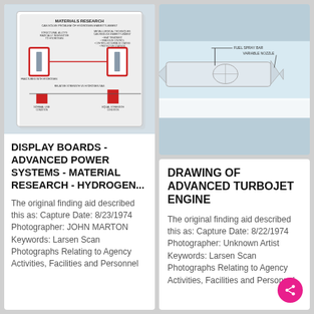[Figure (photo): Photo of a display board showing 'Materials Research - Can Solve Problem of Hydrogen Embrittlement' with diagrams and red-highlighted sections]
DISPLAY BOARDS - ADVANCED POWER SYSTEMS - MATERIAL RESEARCH - HYDROGEN...
The original finding aid described this as: Capture Date: 8/23/1974 Photographer: JOHN MARTON Keywords: Larsen Scan Photographs Relating to Agency Activities, Facilities and Personnel
[Figure (engineering-diagram): Engineering drawing of an advanced turbojet engine, showing fuel spray bar and variable nozzle labels]
DRAWING OF ADVANCED TURBOJET ENGINE
The original finding aid described this as: Capture Date: 8/22/1974 Photographer: Unknown Artist Keywords: Larsen Scan Photographs Relating to Agency Activities, Facilities and Personnel